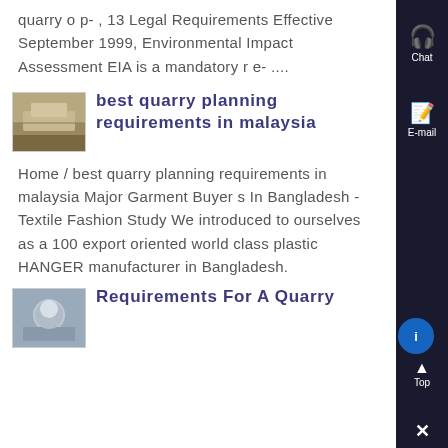quarry o p- , 13 Legal Requirements Effective September 1999, Environmental Impact Assessment EIA is a mandatory r e- ....
[Figure (photo): Thumbnail image of quarry equipment or machinery, brownish/tan tones]
best quarry planning requirements in malaysia
Home / best quarry planning requirements in malaysia Major Garment Buyer s In Bangladesh - Textile Fashion Study We introduced to ourselves as a 100 export oriented world class plastic HANGER manufacturer in Bangladesh.
[Figure (photo): Thumbnail image of a person, possibly in an industrial or work setting]
Requirements For A Quarry